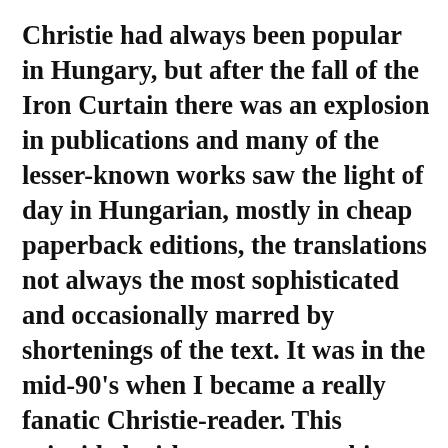Christie had always been popular in Hungary, but after the fall of the Iron Curtain there was an explosion in publications and many of the lesser-known works saw the light of day in Hungarian, mostly in cheap paperback editions, the translations not always the most sophisticated and occasionally marred by shortenings of the text. It was in the mid-90's when I became a really fanatic Christie-reader. This coincided with my parents taking me out of the school I had been visiting in Germany and sending me to a boarding school in Hungary, where I initially felt very